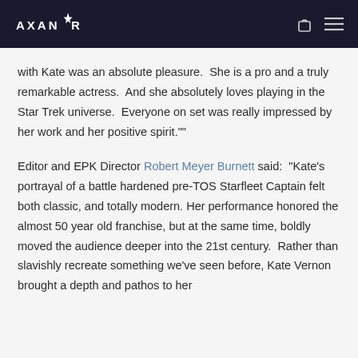AXANTR
with Kate was an absolute pleasure.  She is a pro and a truly remarkable actress.  And she absolutely loves playing in the Star Trek universe.  Everyone on set was really impressed by her work and her positive spirit.""
Editor and EPK Director Robert Meyer Burnett said:  “Kate’s portrayal of a battle hardened pre-TOS Starfleet Captain felt both classic, and totally modern. Her performance honored the almost 50 year old franchise, but at the same time, boldly moved the audience deeper into the 21st century.  Rather than slavishly recreate something we’ve seen before, Kate Vernon brought a depth and pathos to her